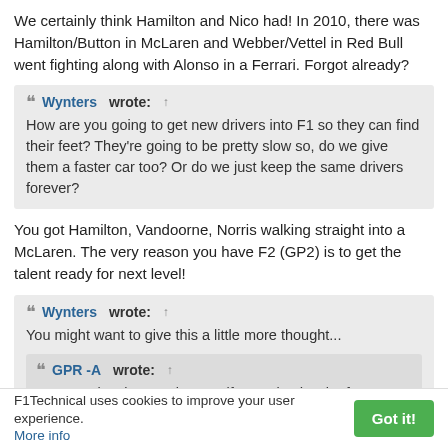We certainly think Hamilton and Nico had! In 2010, there was Hamilton/Button in McLaren and Webber/Vettel in Red Bull went fighting along with Alonso in a Ferrari. Forgot already?
Wynters wrote: ↑ How are you going to get new drivers into F1 so they can find their feet? They're going to be pretty slow so, do we give them a faster car too? Or do we just keep the same drivers forever?
You got Hamilton, Vandoorne, Norris walking straight into a McLaren. The very reason you have F2 (GP2) is to get the talent ready for next level!
Wynters wrote: ↑ You might want to give this a little more thought... GPR -A wrote: ↑ Don't get lost by creating a self conceived web of
F1Technical uses cookies to improve your user experience. More info  Got it!